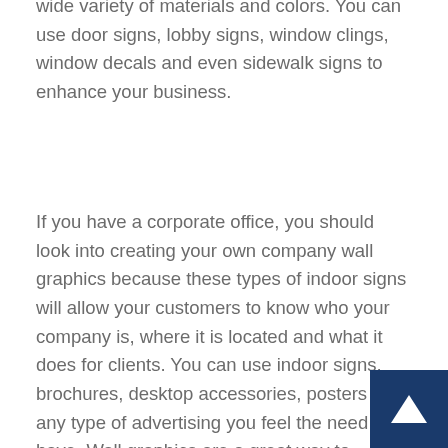wide variety of materials and colors. You can use door signs, lobby signs, window clings, window decals and even sidewalk signs to enhance your business.
If you have a corporate office, you should look into creating your own company wall graphics because these types of indoor signs will allow your customers to know who your company is, where it is located and what it does for clients. You can use indoor signs, brochures, desktop accessories, posters and any type of advertising you feel the need to have. Wall graphics are a great way to advertise your company because it can be placed out of sight, in plain sight and most people don't recognize them as such. Your message can be printed on every wall in the building so people aren't